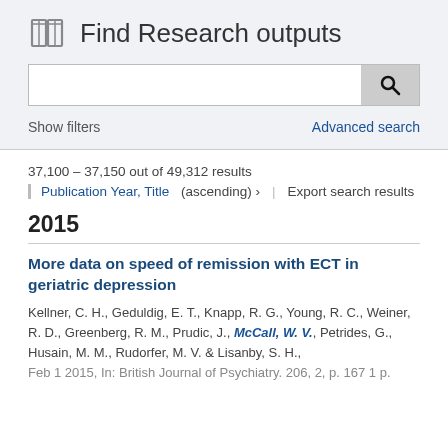Find Research outputs
[Figure (screenshot): Search bar with magnifying glass button]
Show filters
Advanced search
37,100 – 37,150 out of 49,312 results
Publication Year, Title (ascending) › | Export search results
2015
More data on speed of remission with ECT in geriatric depression
Kellner, C. H., Geduldig, E. T., Knapp, R. G., Young, R. C., Weiner, R. D., Greenberg, R. M., Prudic, J., McCall, W. V., Petrides, G., Husain, M. M., Rudorfer, M. V. & Lisanby, S. H., Feb 1 2015, In: British Journal of Psychiatry. 206, 2, p. 167 1 p.